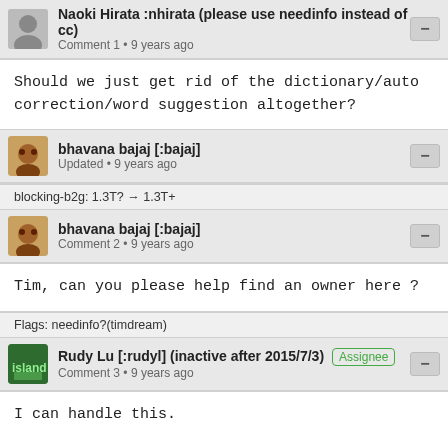Naoki Hirata :nhirata (please use needinfo instead of cc)
Comment 1 • 9 years ago
Should we just get rid of the dictionary/auto correction/word suggestion altogether?
bhavana bajaj [:bajaj]
Updated • 9 years ago
blocking-b2g: 1.3T? → 1.3T+
bhavana bajaj [:bajaj]
Comment 2 • 9 years ago
Tim, can you please help find an owner here ?
Flags: needinfo?(timdream)
Rudy Lu [:rudyl] (inactive after 2015/7/3) [Assignee]
Comment 3 • 9 years ago
I can handle this.